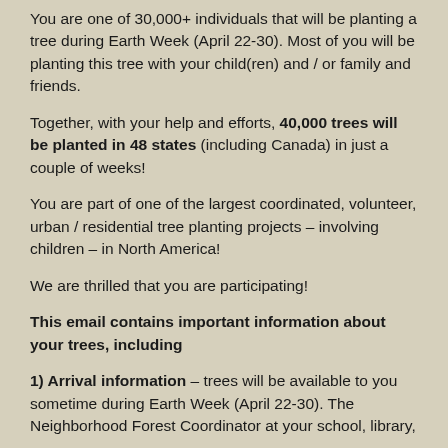You are one of 30,000+ individuals that will be planting a tree during Earth Week (April 22-30). Most of you will be planting this tree with your child(ren) and / or family and friends.
Together, with your help and efforts, 40,000 trees will be planted in 48 states (including Canada) in just a couple of weeks!
You are part of one of the largest coordinated, volunteer, urban / residential tree planting projects – involving children – in North America!
We are thrilled that you are participating!
This email contains important information about your trees, including
1) Arrival information – trees will be available to you sometime during Earth Week (April 22-30). The Neighborhood Forest Coordinator at your school, library,